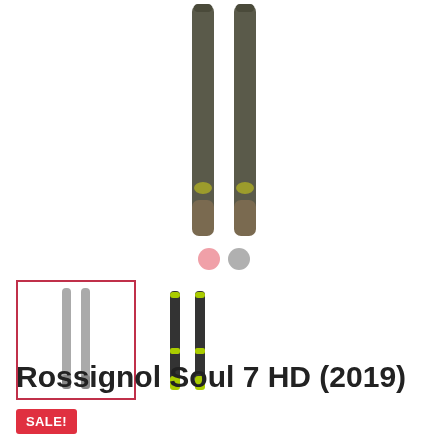[Figure (photo): Two Rossignol Soul 7 HD skis (dark olive/gray color) standing upright, shown from the front, with tips at top and tails at bottom. The skis are shown close together, slightly blurred background.]
[Figure (photo): Thumbnail 1: Two Rossignol Soul 7 HD skis in silver/gray color, selected (red border). Thumbnail 2: Two Rossignol Soul 7 HD skis in black/yellow-green color.]
Rossignol Soul 7 HD (2019)
SALE!